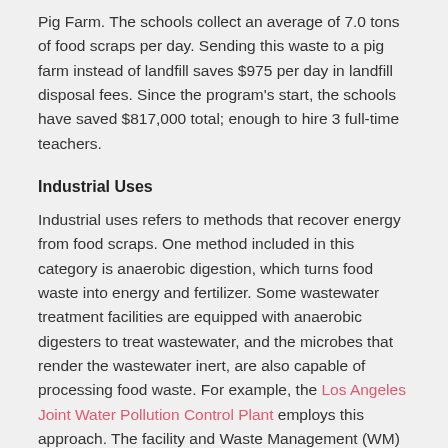Pig Farm. The schools collect an average of 7.0 tons of food scraps per day. Sending this waste to a pig farm instead of landfill saves $975 per day in landfill disposal fees. Since the program's start, the schools have saved $817,000 total; enough to hire 3 full-time teachers.
Industrial Uses
Industrial uses refers to methods that recover energy from food scraps. One method included in this category is anaerobic digestion, which turns food waste into energy and fertilizer. Some wastewater treatment facilities are equipped with anaerobic digesters to treat wastewater, and the microbes that render the wastewater inert, are also capable of processing food waste. For example, the Los Angeles Joint Water Pollution Control Plant employs this approach. The facility and Waste Management (WM) are piloting a program that takes collected restaurant and grocery store unsellable food and turns it into a food